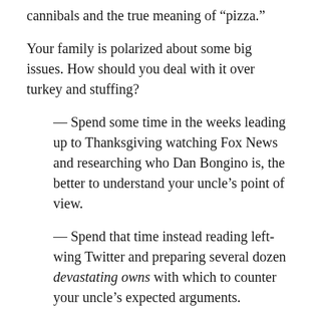cannibals and the true meaning of “pizza.”
Your family is polarized about some big issues. How should you deal with it over turkey and stuffing?
— Spend some time in the weeks leading up to Thanksgiving watching Fox News and researching who Dan Bongino is, the better to understand your uncle’s point of view.
— Spend that time instead reading left-wing Twitter and preparing several dozen devastating owns with which to counter your uncle’s expected arguments.
— Organize a structured dialogue in